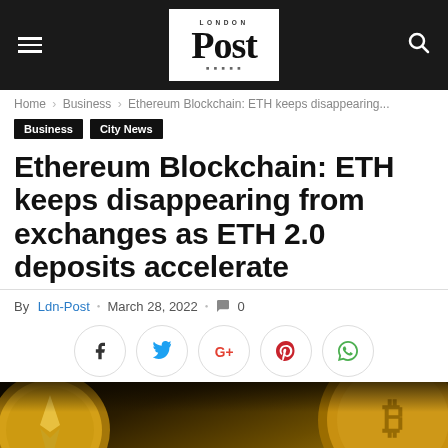London Post
Home › Business › Ethereum Blockchain: ETH keeps disappearing...
Business   City News
Ethereum Blockchain: ETH keeps disappearing from exchanges as ETH 2.0 deposits accelerate
By Ldn-Post . March 28, 2022 . 0
[Figure (photo): Gold cryptocurrency coins including Bitcoin and Ethereum on a dark background]